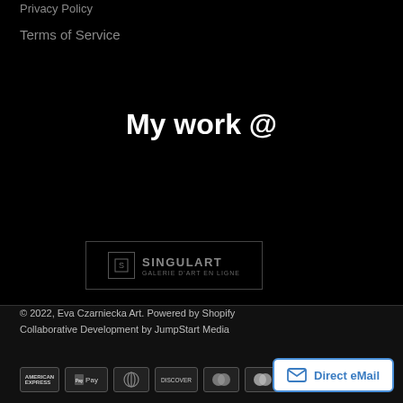Privacy Policy
Terms of Service
My work @
[Figure (logo): SINGULART logo in a bordered rectangle on dark background]
© 2022, Eva Czarniecka Art. Powered by Shopify Collaborative Development by JumpStart Media
[Figure (infographic): Payment icons: American Express, Apple Pay, Diners Club, Discover, Maestro, Mastercard, PayPal, and more]
Direct eMail